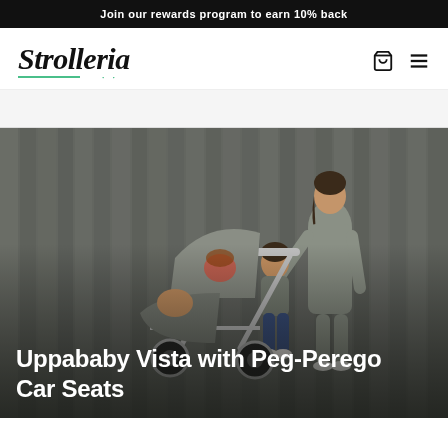Join our rewards program to earn 10% back
[Figure (logo): Strolleria cursive logo with teal underline and dots]
[Figure (photo): A mother with two children and a double stroller (Uppababy Vista) against a grey wooden slat wall background]
Uppababy Vista with Peg-Perego Car Seats